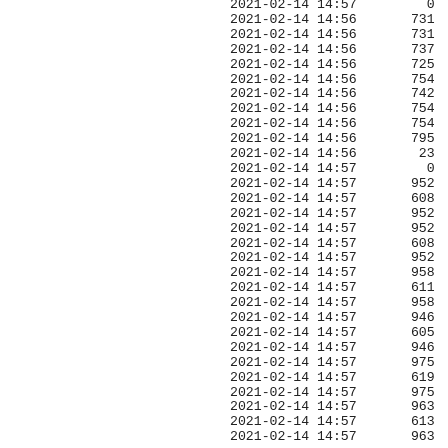| datetime | value |
| --- | --- |
| 2021-02-14 14:57 | 0 |
| 2021-02-14 14:56 | 731 |
| 2021-02-14 14:56 | 731 |
| 2021-02-14 14:56 | 737 |
| 2021-02-14 14:56 | 725 |
| 2021-02-14 14:56 | 754 |
| 2021-02-14 14:56 | 742 |
| 2021-02-14 14:56 | 754 |
| 2021-02-14 14:56 | 754 |
| 2021-02-14 14:56 | 795 |
| 2021-02-14 14:56 | 23 |
| 2021-02-14 14:57 | 0 |
| 2021-02-14 14:57 | 952 |
| 2021-02-14 14:57 | 608 |
| 2021-02-14 14:57 | 952 |
| 2021-02-14 14:57 | 952 |
| 2021-02-14 14:57 | 608 |
| 2021-02-14 14:57 | 952 |
| 2021-02-14 14:57 | 958 |
| 2021-02-14 14:57 | 611 |
| 2021-02-14 14:57 | 958 |
| 2021-02-14 14:57 | 946 |
| 2021-02-14 14:57 | 605 |
| 2021-02-14 14:57 | 946 |
| 2021-02-14 14:57 | 975 |
| 2021-02-14 14:57 | 619 |
| 2021-02-14 14:57 | 975 |
| 2021-02-14 14:57 | 963 |
| 2021-02-14 14:57 | 613 |
| 2021-02-14 14:57 | 963 |